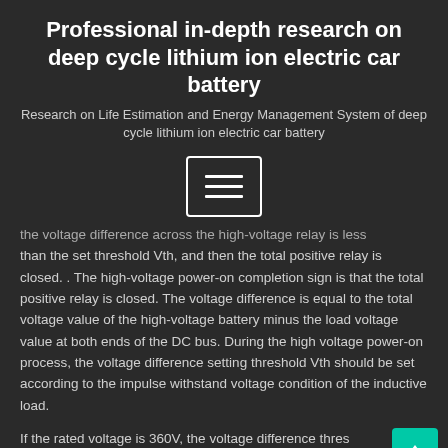Professional in-depth research on deep cycle lithium ion electric car battery
Research on Life Estimation and Energy Management System of deep cycle lithium ion electric car battery
[Figure (other): Hamburger menu button icon with three horizontal lines inside a rectangle border]
the voltage difference across the high-voltage relay is less than the set threshold Vth, and then the total positive relay is closed. . The high-voltage power-on completion sign is that the total positive relay is closed. The voltage difference is equal to the total voltage value of the high-voltage battery minus the load voltage value at both ends of the DC bus. During the high voltage power-on process, the voltage difference setting threshold Vth should be set according to the impulse withstand voltage condition of the inductive load.
If the rated voltage is 360V, the voltage difference threshold of high-voltage power-on and power-off technology is